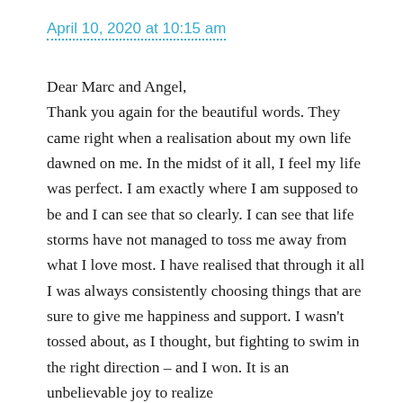April 10, 2020 at 10:15 am
Dear Marc and Angel,
Thank you again for the beautiful words. They came right when a realisation about my own life dawned on me. In the midst of it all, I feel my life was perfect. I am exactly where I am supposed to be and I can see that so clearly. I can see that life storms have not managed to toss me away from what I love most. I have realised that through it all I was always consistently choosing things that are sure to give me happiness and support. I wasn't tossed about, as I thought, but fighting to swim in the right direction – and I won. It is an unbelievable joy to realize